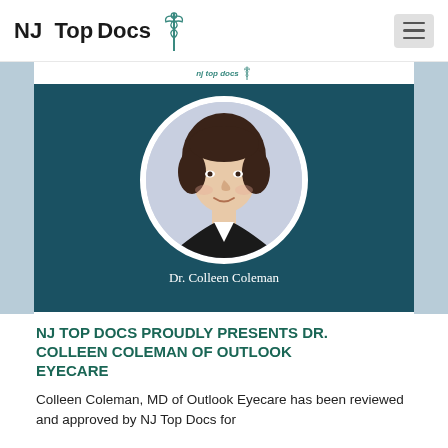NJ Top Docs
[Figure (photo): Profile photo of Dr. Colleen Coleman with name label, set against a dark teal background with circular portrait framing]
Dr. Colleen Coleman
NJ TOP DOCS PROUDLY PRESENTS DR. COLLEEN COLEMAN OF OUTLOOK EYECARE
Colleen Coleman, MD of Outlook Eyecare has been reviewed and approved by NJ Top Docs for